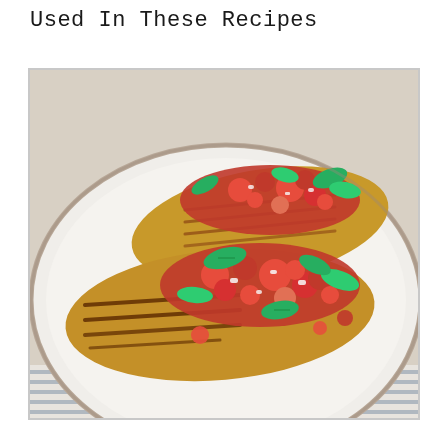Used In These Recipes
[Figure (photo): A close-up food photograph of grilled chicken bruschetta on a white ceramic plate. Two grilled chicken breasts are topped with chunky fresh tomato salsa and fresh green basil leaves. The plate sits on a white/grey striped cloth napkin on a light wood surface.]